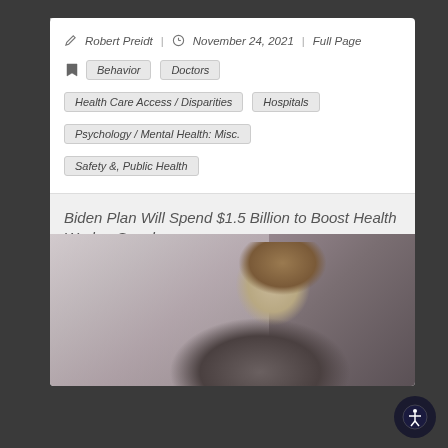Robert Preidt  |  November 24, 2021  |  Full Page
Behavior
Doctors
Health Care Access / Disparities
Hospitals
Psychology / Mental Health: Misc.
Safety &, Public Health
Biden Plan Will Spend $1.5 Billion to Boost Health Worker Supply
[Figure (photo): Photo of a woman with long brown hair looking upward, taken in a medical or professional setting with soft blurred background]